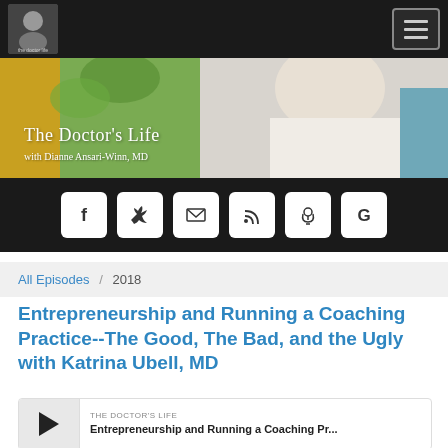[Figure (screenshot): Website header navigation bar with logo and hamburger menu on dark background]
[Figure (photo): Banner image for 'The Doctor's Life with Dianne Ansari-Winn, MD' podcast showing a woman smiling with yellow and green background]
[Figure (infographic): Social media icons bar on dark background: Facebook, Twitter, Email, RSS, Podcast, Google]
All Episodes / 2018
Entrepreneurship and Running a Coaching Practice--The Good, The Bad, and the Ugly with Katrina Ubell, MD
THE DOCTOR'S LIFE
Entrepreneurship and Running a Coaching Pr...